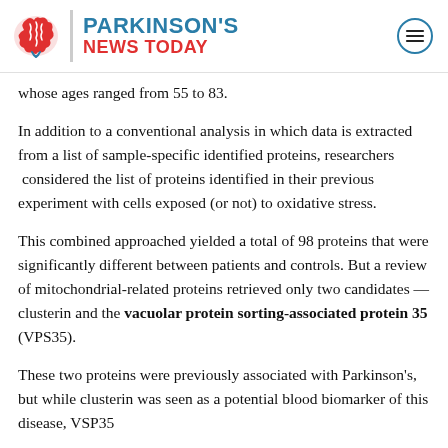Parkinson's News Today
whose ages ranged from 55 to 83.
In addition to a conventional analysis in which data is extracted from a list of sample-specific identified proteins, researchers  considered the list of proteins identified in their previous experiment with cells exposed (or not) to oxidative stress.
This combined approached yielded a total of 98 proteins that were significantly different between patients and controls. But a review of mitochondrial-related proteins retrieved only two candidates — clusterin and the vacuolar protein sorting-associated protein 35 (VPS35).
These two proteins were previously associated with Parkinson's, but while clusterin was seen as a potential blood biomarker of this disease, VSP35